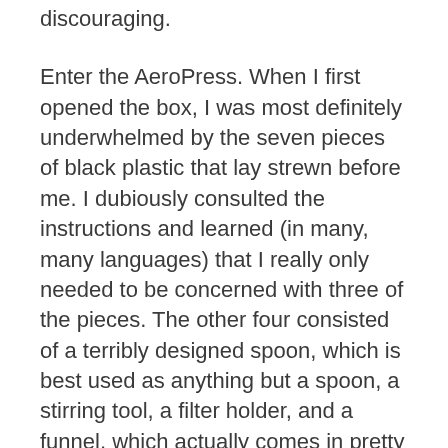discouraging.
Enter the AeroPress. When I first opened the box, I was most definitely underwhelmed by the seven pieces of black plastic that lay strewn before me. I dubiously consulted the instructions and learned (in many, many languages) that I really only needed to be concerned with three of the pieces. The other four consisted of a terribly designed spoon, which is best used as anything but a spoon, a stirring tool, a filter holder, and a funnel, which actually comes in pretty handy as coffee grounds tend to clump when you are desperately trying to pour them into the press while in a caffeine-depleted stupor. The important pieces